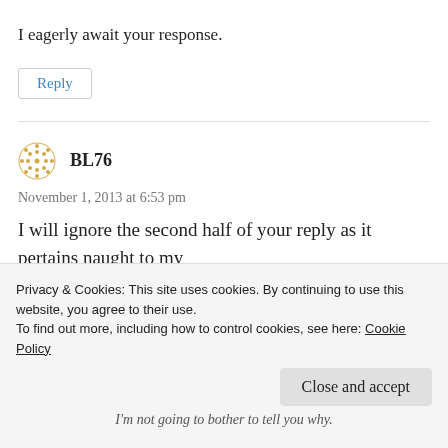I eagerly await your response.
Reply
BL76
November 1, 2013 at 6:53 pm
I will ignore the second half of your reply as it pertains naught to my
Privacy & Cookies: This site uses cookies. By continuing to use this website, you agree to their use.
To find out more, including how to control cookies, see here: Cookie Policy
Close and accept
I'm not going to bother to tell you why.